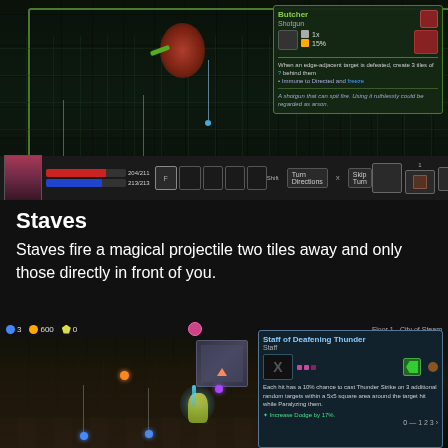[Figure (screenshot): Top game screenshot showing a dungeon scene with a character, enemies, pendulum traps, and a weapon tooltip panel for 'Butcher Shotgun' in the top-right corner. HUD bar at bottom shows character stats and skill slots.]
Staves
Staves fire a magical projectile two tiles away and only those directly in front of you.
[Figure (screenshot): Bottom game screenshot showing a dungeon/city scene with a player character holding a glowing weapon, resource HUD at top showing 3 gems/600 coins/0 trophies, floor label 'Floor 1 - City of Steam', minimap, and a 'Staff of Deafening Thunder Staff' tooltip panel on the right.]